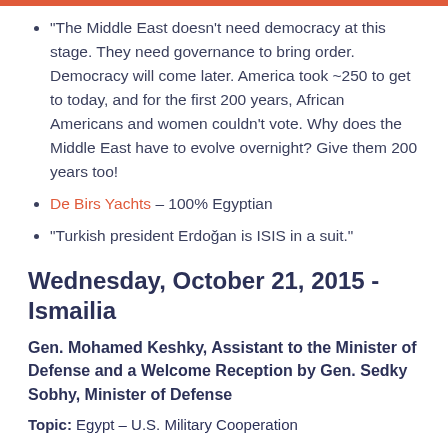“The Middle East doesn’t need democracy at this stage. They need governance to bring order. Democracy will come later. America took ~250 to get to today, and for the first 200 years, African Americans and women couldn’t vote. Why does the Middle East have to evolve overnight? Give them 200 years too!
De Birs Yachts – 100% Egyptian
“Turkish president Erdoğan is ISIS in a suit.”
Wednesday, October 21, 2015 - Ismailia
Gen. Mohamed Keshky, Assistant to the Minister of Defense and a Welcome Reception by Gen. Sedky Sobhy, Minister of Defense
Topic: Egypt – U.S. Military Cooperation